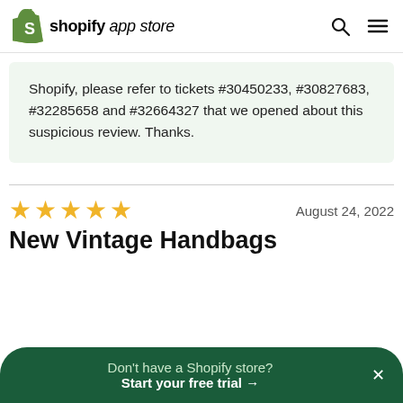shopify app store
Shopify, please refer to tickets #30450233, #30827683, #32285658 and #32664327 that we opened about this suspicious review. Thanks.
★★★★★  August 24, 2022
New Vintage Handbags
Don't have a Shopify store? Start your free trial →